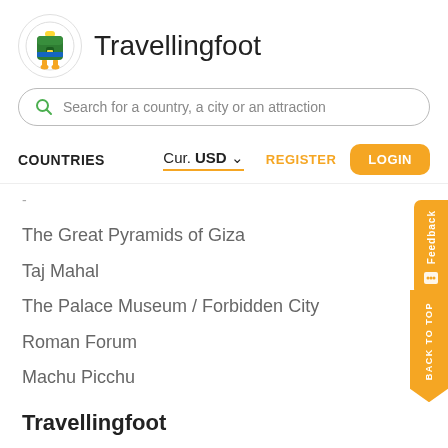Travellingfoot
Search for a country, a city or an attraction
COUNTRIES   Cur. USD   REGISTER   LOGIN
The Great Pyramids of Giza
Taj Mahal
The Palace Museum / Forbidden City
Roman Forum
Machu Picchu
Travellingfoot
About us
Quiz
Contact us